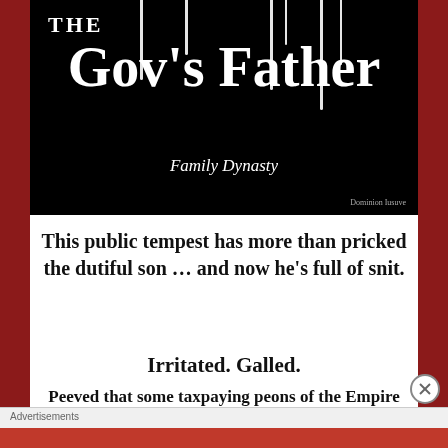[Figure (illustration): Book cover image with black background, white drip lines, title 'THE Gov's Father' and subtitle 'Family Dynasty' in white text on black.]
This public tempest has more than pricked the dutiful son … and now he's full of snit.
Irritated. Galled.
Peeved that some taxpaying peons of the Empire State find corrupt intrigue in this imperial monument to Il Papà.
Advertisements